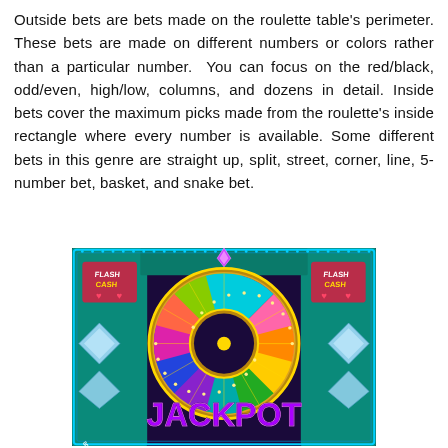Outside bets are bets made on the roulette table's perimeter. These bets are made on different numbers or colors rather than a particular number. You can focus on the red/black, odd/even, high/low, columns, and dozens in detail. Inside bets cover the maximum picks made from the roulette's inside rectangle where every number is available. Some different bets in this genre are straight up, split, street, corner, line, 5-number bet, basket, and snake bet.
[Figure (photo): A colorful casino jackpot wheel game image showing a spinning prize wheel with various amounts (30M, 200M, 300M, 40M, 600, 300, 400, 500M, 600M, 50M, 900, 600) and the word JACKPOT in large purple letters at the bottom, with Flash Cash branding on left and right panels, diamonds and neon lights decorating the sides.]